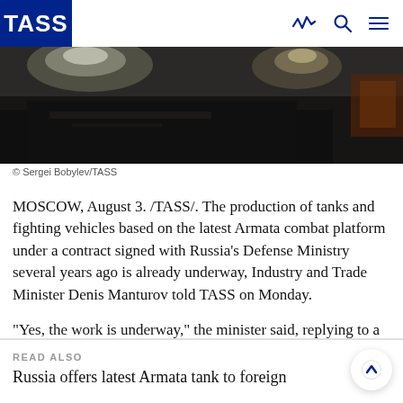TASS
[Figure (photo): Dark interior photograph of Armata tank or armored vehicle in a production facility, with bright overhead lights visible]
© Sergei Bobylev/TASS
MOSCOW, August 3. /TASS/. The production of tanks and fighting vehicles based on the latest Armata combat platform under a contract signed with Russia's Defense Ministry several years ago is already underway, Industry and Trade Minister Denis Manturov told TASS on Monday.
"Yes, the work is underway," the minister said, replying to a question about whether the production of these armored vehicles had begun in Russia.
READ ALSO
Russia offers latest Armata tank to foreign…